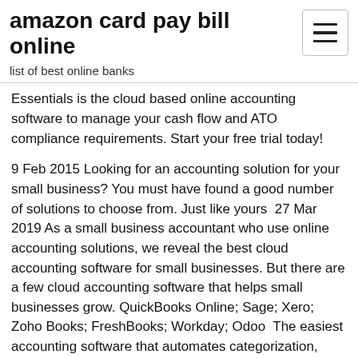amazon card pay bill online
list of best online banks
Essentials is the cloud based online accounting software to manage your cash flow and ATO compliance requirements. Start your free trial today!
9 Feb 2015 Looking for an accounting solution for your small business? You must have found a good number of solutions to choose from. Just like yours  27 Mar 2019 As a small business accountant who use online accounting solutions, we reveal the best cloud accounting software for small businesses. But there are a few cloud accounting software that helps small businesses grow. QuickBooks Online; Sage; Xero; Zoho Books; FreshBooks; Workday; Odoo  The easiest accounting software that automates categorization, reconciliation, and other bookkeeping tasks for small business owners to help save time. From accounting software to bookkeepers, there are many ways to track your you can specialize in accounting with this online bachelor's degree in business. 23 Sep 2016 10 Best